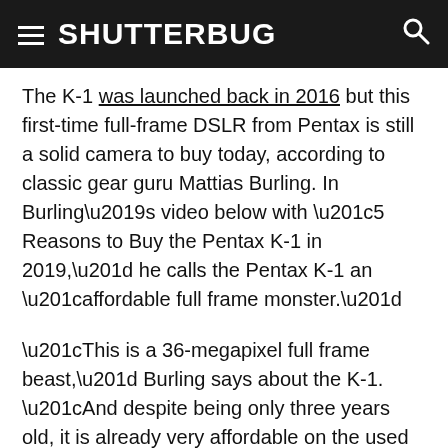SHUTTERBUG
The K-1 was launched back in 2016 but this first-time full-frame DSLR from Pentax is still a solid camera to buy today, according to classic gear guru Mattias Burling. In Burling’s video below with “5 Reasons to Buy the Pentax K-1 in 2019,” he calls the Pentax K-1 an “affordable full frame monster.”
“This is a 36-megapixel full frame beast,” Burling says about the K-1. “And despite being only three years old, it is already very affordable on the used market. It costs less than many modern cameras that have no business trying to compete with this top tier piece of machine.”
Watch the video below where Burling explains these